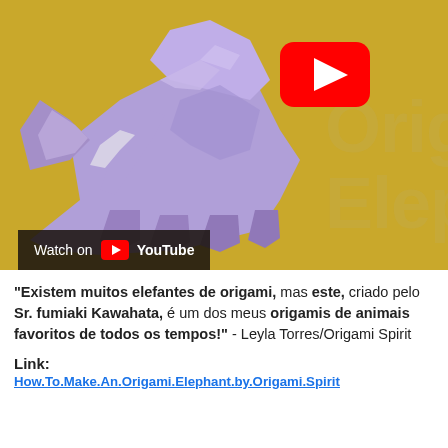[Figure (screenshot): YouTube video thumbnail showing a purple origami elephant on a golden/yellow background, with a YouTube play button in the top-right area and a 'Watch on YouTube' bar at the bottom-left. Watermark text 'Orig Elep' partially visible on the right.]
"Existem muitos elefantes de origami, mas este, criado pelo Sr. fumiaki Kawahata, é um dos meus origamis de animais favoritos de todos os tempos!" - Leyla Torres/Origami Spirit
Link:
How.To.Make.An.Origami.Elephant.by.Origami.Spirit